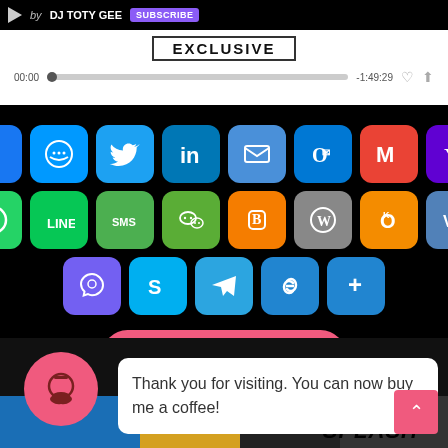[Figure (screenshot): Music player with DJ TOTY GEE, EXCLUSIVE label, progress bar showing 00:00 / -1:49:29]
[Figure (infographic): Social sharing icons grid: Facebook, Messenger, Twitter, LinkedIn, Email, Outlook, Gmail, Yahoo, WhatsApp, LINE, SMS, WeChat, Blogger, WordPress, OK, VK, Viber, Skype, Telegram, Link, More]
Read More
Thank you for visiting. You can now buy me a coffee!
[Figure (photo): Bottom image strip with SPLASH text]